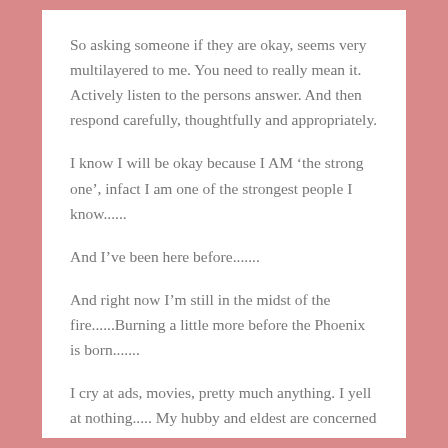So asking someone if they are okay, seems very multilayered to me. You need to really mean it. Actively listen to the persons answer. And then respond carefully, thoughtfully and appropriately.
I know I will be okay because I AM ‘the strong one’, infact I am one of the strongest people I know......
And I’ve been here before.......
And right now I’m still in the midst of the fire......Burning a little more before the Phoenix is born.......
I cry at ads, movies, pretty much anything. I yell at nothing..... My hubby and eldest are concerned (but somewhat annoyed too, inconvenienced I guess by my lack of happiness). My younger ones are somewhat